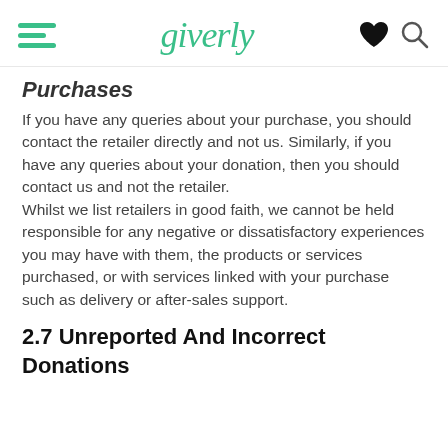giverly
Purchases
If you have any queries about your purchase, you should contact the retailer directly and not us. Similarly, if you have any queries about your donation, then you should contact us and not the retailer.
Whilst we list retailers in good faith, we cannot be held responsible for any negative or dissatisfactory experiences you may have with them, the products or services purchased, or with services linked with your purchase such as delivery or after-sales support.
2.7 Unreported And Incorrect Donations